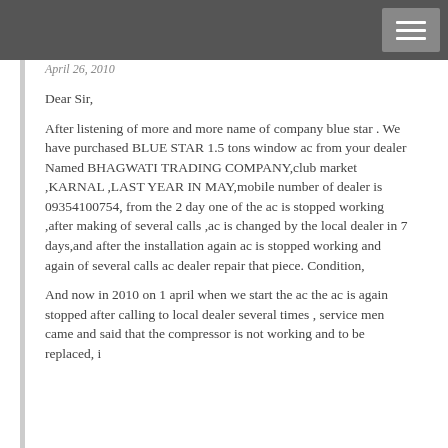April 26, 2010
Dear Sir,
After listening of more and more name of company blue star . We have purchased BLUE STAR 1.5 tons window ac from your dealer Named BHAGWATI TRADING COMPANY,club market ,KARNAL ,LAST YEAR IN MAY,mobile number of dealer is 09354100754, from the 2 day one of the ac is stopped working ,after making of several calls ,ac is changed by the local dealer in 7 days,and after the installation again ac is stopped working and again of several calls ac dealer repair that piece. Condition,
And now in 2010 on 1 april when we start the ac the ac is again stopped after calling to local dealer several times , service men came and said that the compressor is not working and to be replaced, i